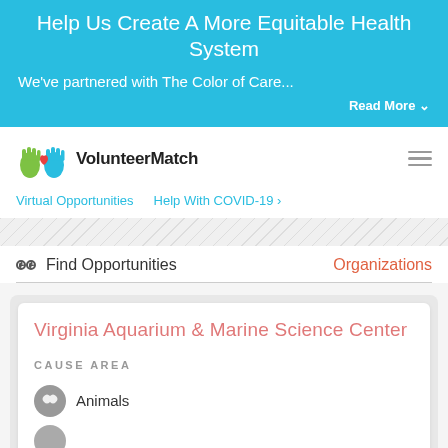Help Us Create A More Equitable Health System
We've partnered with The Color of Care...
Read More ∨
[Figure (logo): VolunteerMatch logo with green hands and red heart]
Virtual Opportunities   Help With COVID-19 ›
🔭 Find Opportunities   Organizations
Virginia Aquarium & Marine Science Center
Cause Area
Animals